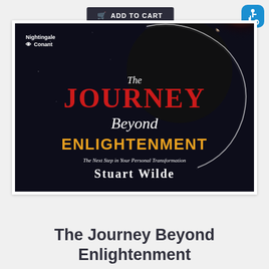[Figure (screenshot): Add to cart button with shopping cart icon, dark background]
[Figure (illustration): Accessibility badge with wheelchair icon on blue rounded square background]
[Figure (photo): Book cover for 'The Journey Beyond Enlightenment' by Stuart Wilde, published by Nightingale-Conant. Dark background with eclipse/solar flare graphic. Title in red, gold and white text.]
The Journey Beyond Enlightenment